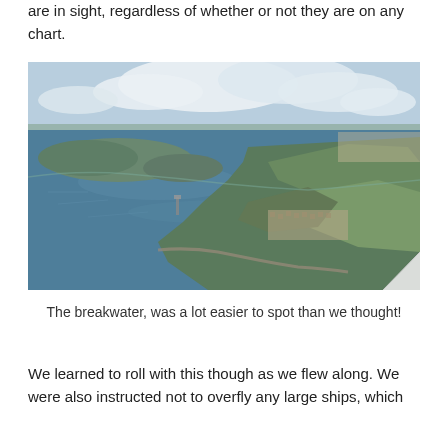are in sight, regardless of whether or not they are on any chart.
[Figure (photo): Aerial photograph looking down over a coastal landscape with a harbor, bay, islands, and urban area in the background. Blue sea dominates the foreground and left side, with green headland/peninsula on the right, and cumulus clouds in the sky above.]
The breakwater, was a lot easier to spot than we thought!
We learned to roll with this though as we flew along. We were also instructed not to overfly any large ships, which